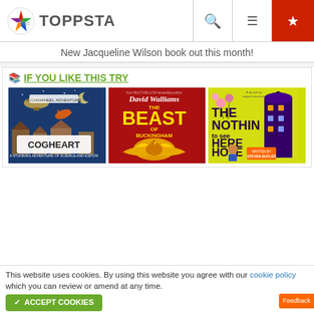TOPPSTA
New Jacqueline Wilson book out this month!
IF YOU LIKE THIS TRY
[Figure (photo): Three children's book covers: Cogheart, The Beast of Buckingham Palace by David Walliams, and Nothing to See Here Hotel by Steven Butler]
This website uses cookies. By using this website you agree with our cookie policy which you can review or amend at any time.
ACCEPT COOKIES
Feedback